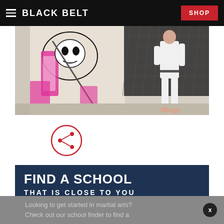BLACK BELT | SHOP
[Figure (photo): Photo of a martial artist in a white gi/uniform standing in front of a building with graffiti art depicting a skulled figure in pink and black. The person is barefoot and appears to be in a martial arts stance.]
[Figure (other): Share button circle icon with a share/network symbol inside, outlined in red]
FIND A SCHOOL
THAT IS CLOSE TO YOU
Looking to get started in martial arts? Check out our school finder to find a